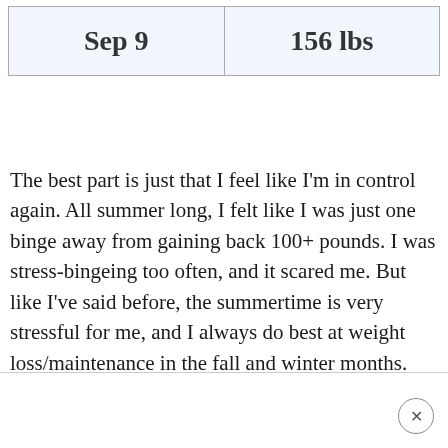| Sep 9 | 156 lbs |
The best part is just that I feel like I'm in control again. All summer long, I felt like I was just one binge away from gaining back 100+ pounds. I was stress-bingeing too often, and it scared me. But like I've said before, the summertime is very stressful for me, and I always do best at weight loss/maintenance in the fall and winter months.